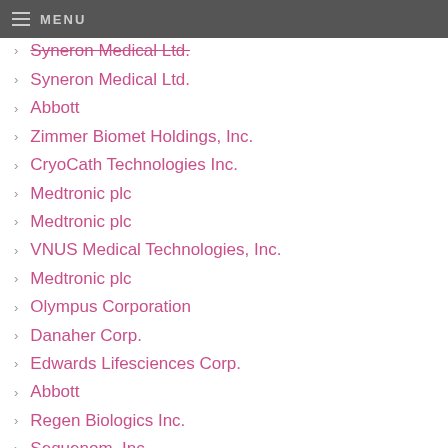MENU
Syneron Medical Ltd.
Syneron Medical Ltd.
Abbott
Zimmer Biomet Holdings, Inc.
CryoCath Technologies Inc.
Medtronic plc
Medtronic plc
VNUS Medical Technologies, Inc.
Medtronic plc
Olympus Corporation
Danaher Corp.
Edwards Lifesciences Corp.
Abbott
Regen Biologics Inc.
Sequenom, Inc.
Laboratory Corporation of America
Meso Scale Bioanalysis